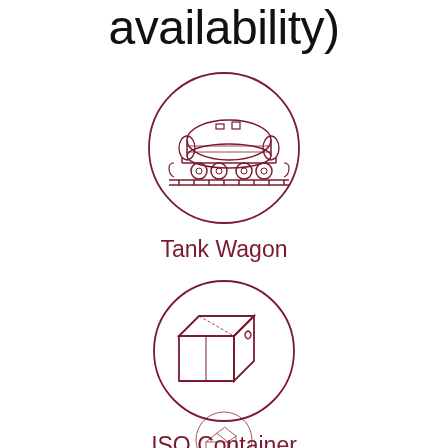availability)
[Figure (illustration): Circular icon outline containing a drawing of a tank wagon / rail tanker car in dark red/maroon color]
Tank Wagon
[Figure (illustration): Circular icon outline containing a drawing of an ISO container (box-shaped shipping container with a droplet symbol) in dark red/maroon color]
ISO Container
[Figure (illustration): Circular icon outline (partially visible, cropped at bottom) containing a drawing of what appears to be a warehouse or storage building in dark red/maroon color]